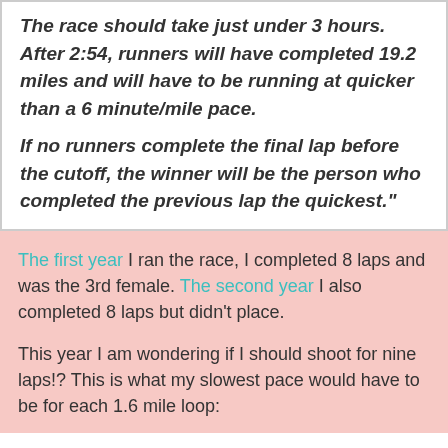The race should take just under 3 hours. After 2:54, runners will have completed 19.2 miles and will have to be running at quicker than a 6 minute/mile pace. If no runners complete the final lap before the cutoff, the winner will be the person who completed the previous lap the quickest."
The first year I ran the race, I completed 8 laps and was the 3rd female. The second year I also completed 8 laps but didn't place.
This year I am wondering if I should shoot for nine laps!? This is what my slowest pace would have to be for each 1.6 mile loop: